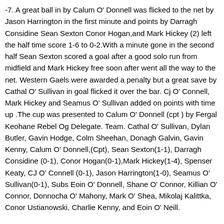-7. A great ball in by Calum O' Donnell was flicked to the net by Jason Harrington in the first minute and points by Darragh Considine Sean Sexton Conor Hogan,and Mark Hickey (2) left the half time score 1-6 to 0-2.With a minute gone in the second half Sean Sexton scored a goal after a good solo run from midfield and Mark Hickey free soon after went all the way to the net. Western Gaels were awarded a penalty but a great save by Cathal O' Sullivan in goal flicked it over the bar. Cj O' Connell, Mark Hickey and Seamus O' Sullivan added on points with time up .The cup was presented to Calum O' Donnell (cpt ) by Fergal Keohane Rebel Og Delegate. Team. Cathal O' Sullivan, Dylan Butler, Gavin Hodge, Colm Sheehan, Donagh Galvin, Gavin Kenny, Calum O' Donnell,(Cpt), Sean Sexton(1-1), Darragh Considine (0-1), Conor Hogan(0-1),Mark Hickey(1-4), Spenser Keaty, CJ O' Connell (0-1), Jason Harrington(1-0), Seamus O' Sullivan(0-1), Subs Eoin O' Donnell, Shane O' Connor, Killian O' Connor, Donnocha O' Mahony, Mark O' Shea, Mikolaj Kalittka, Conor Ustianowski, Charlie Kenny, and Eoin O' Neill.
The U12 hurlers were defeated by Argideen Rangers at home in the league playoff 2-9 to 2-5 .Kilbrittain scores coming from, Eoin o Neill (1-